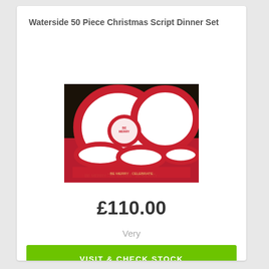Waterside 50 Piece Christmas Script Dinner Set
[Figure (photo): Red and white Christmas-themed dinner set with plates, bowls, and placemats featuring script text patterns, displayed on a dark background.]
£110.00
Very
VISIT & CHECK STOCK